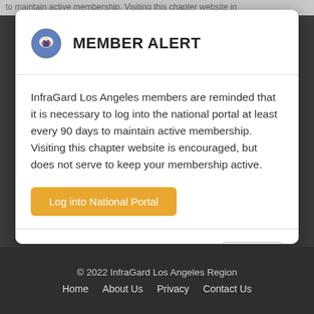to maintain active membership. Visiting this chapter website in
MEMBER ALERT
InfraGard Los Angeles members are reminded that it is necessary to log into the national portal at least every 90 days to maintain active membership. Visiting this chapter website is encouraged, but does not serve to keep your membership active.
Log into National Portal
Close
© 2022 InfraGard Los Angeles Region
Home   About Us   Privacy   Contact Us